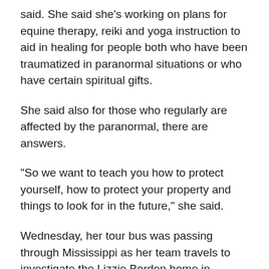said. She said she's working on plans for equine therapy, reiki and yoga instruction to aid in healing for people both who have been traumatized in paranormal situations or who have certain spiritual gifts.
She said also for those who regularly are affected by the paranormal, there are answers.
“So we want to teach you how to protect yourself, how to protect your property and things to look for in the future,” she said.
Wednesday, her tour bus was passing through Mississippi as her team travels to investigate the Lizzie Borden home in Massachusetts. Childers will be on that trip too. He said he’s seen some things working with Daniels that he never would have dreamed of.